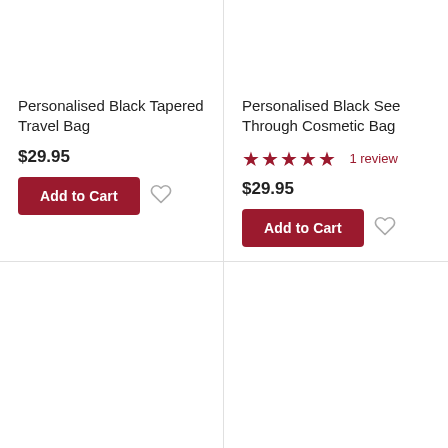Personalised Black Tapered Travel Bag
$29.95
Add to Cart
Personalised Black See Through Cosmetic Bag
★★★★★ 1 review
$29.95
Add to Cart